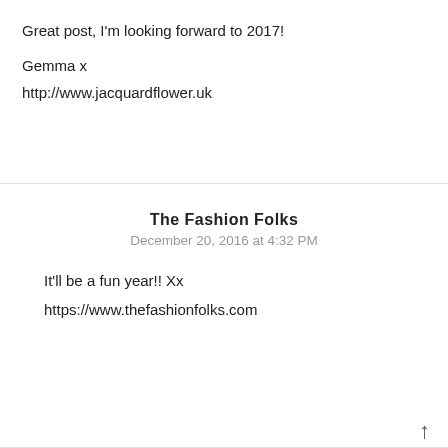Great post, I'm looking forward to 2017!
Gemma x
http://www.jacquardflower.uk
The Fashion Folks
December 20, 2016 at 4:32 PM
It'll be a fun year!! Xx
https://www.thefashionfolks.com